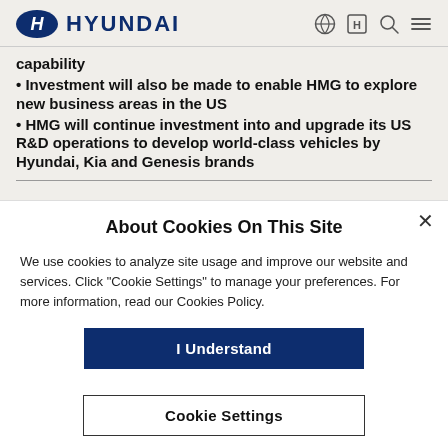HYUNDAI
capability
Investment will also be made to enable HMG to explore new business areas in the US
HMG will continue investment into and upgrade its US R&D operations to develop world-class vehicles by Hyundai, Kia and Genesis brands
About Cookies On This Site
We use cookies to analyze site usage and improve our website and services. Click "Cookie Settings" to manage your preferences. For more information, read our Cookies Policy.
I Understand
Cookie Settings